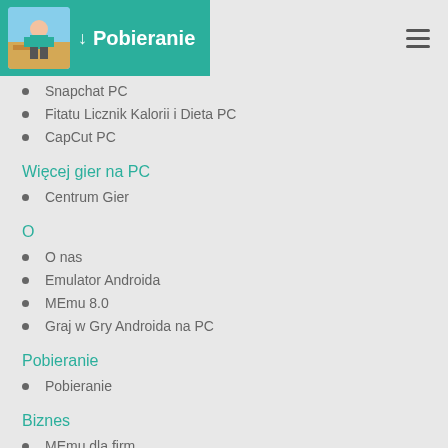Pobieranie
Snapchat PC
Fitatu Licznik Kalorii i Dieta PC
CapCut PC
Więcej gier na PC
Centrum Gier
O
O nas
Emulator Androida
MEmu 8.0
Graj w Gry Androida na PC
Pobieranie
Pobieranie
Biznes
MEmu dla firm